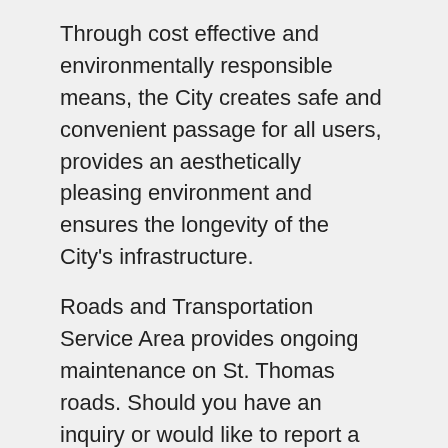Through cost effective and environmentally responsible means, the City creates safe and convenient passage for all users, provides an aesthetically pleasing environment and ensures the longevity of the City's infrastructure.
Roads and Transportation Service Area provides ongoing maintenance on St. Thomas roads. Should you have an inquiry or would like to report a deficiency regarding any of the Roads and Transportation Services Area activities listed below, please contact Customer Service at customerservice@stthomas.ca or by telephone at: 519-631-1680 and press "0". For emergencies during off hours please contact the emergency dispatch at 519-631-1680 and press "0".
From 7:30 p.m. to 7:00 a.m. and during weekends or...